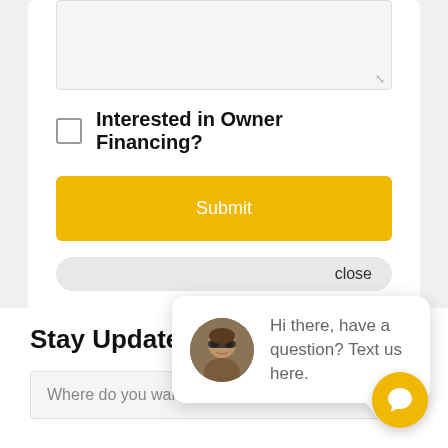[Figure (screenshot): Textarea input field with resize handle at bottom-right]
Interested in Owner Financing?
Submit
close
[Figure (illustration): Chat popup bubble with avatar photo of man wearing sunglasses and message: Hi there, have a question? Text us here.]
Stay Updated
Where do you want to own land?